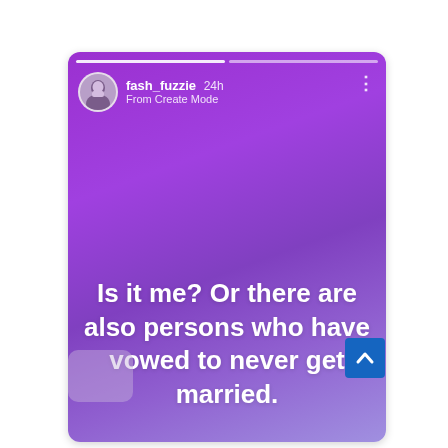[Figure (screenshot): Instagram story screenshot from user fash_fuzzie, posted 24h ago, From Create Mode. Purple/violet gradient background. Text reads: 'Is it me? Or there are also persons who have vowed to never get married.' White bold text centered on the story.]